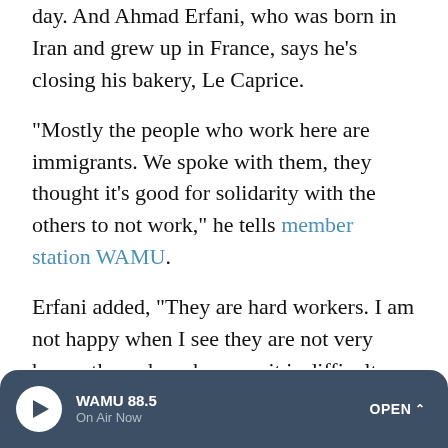day. And Ahmad Erfani, who was born in Iran and grew up in France, says he's closing his bakery, Le Caprice.
"Mostly the people who work here are immigrants. We spoke with them, they thought it's good for solidarity with the others to not work," he tells member station WAMU.
Erfani added, "They are hard workers. I am not happy when I see they are not very happy these days, because it is difficult. They work hard, they come here six in the morning. It is not very comfortable for us."
Sponsor Message
[Figure (screenshot): Library of Congress National Book Festival advertisement banner with yellow background]
[Figure (screenshot): WAMU 88.5 audio player bar at bottom with play button, On Air Now label, and OPEN button]